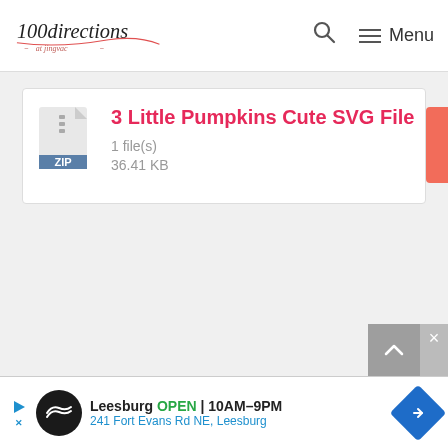100directions — Menu
[Figure (screenshot): Download card for '3 Little Pumpkins Cute SVG File', a ZIP file of 36.41 KB, with a coral DOWNLOAD button]
3 Little Pumpkins Cute SVG File
1 file(s)
36.41 KB
[Figure (infographic): Advertisement banner: Leesburg OPEN 10AM-9PM, 241 Fort Evans Rd NE, Leesburg]